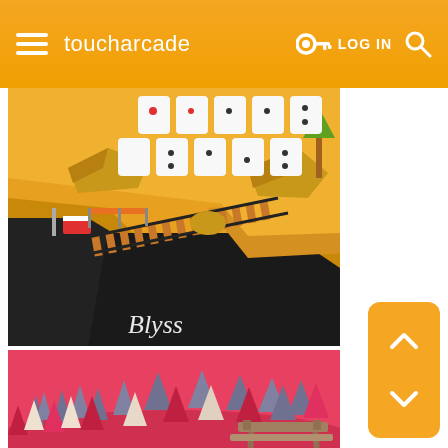toucharcade  LOG IN
[Figure (screenshot): Low-poly 3D game screenshot showing a desert/canyon scene with railway tracks crossing a chasm, domino-like white tiles in the upper area, rocks, and the word 'Blyss' in stylized script at the bottom left. Game is called Blyss.]
[Figure (screenshot): Low-poly stylized game screenshot with pink/red background showing colorful trees (grey, pink, red, cream) in a forest scene with a wooden bench/picnic table in the lower right.]